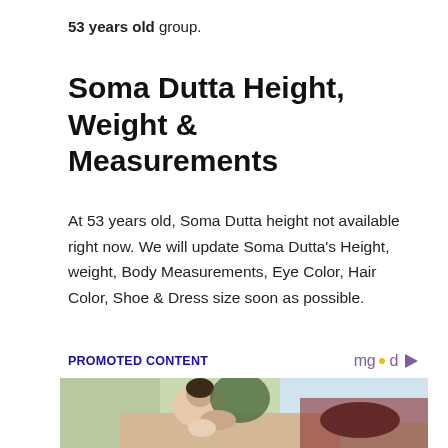53 years old group.
Soma Dutta Height, Weight & Measurements
At 53 years old, Soma Dutta height not available right now. We will update Soma Dutta's Height, weight, Body Measurements, Eye Color, Hair Color, Shoe & Dress size soon as possible.
PROMOTED CONTENT
[Figure (photo): Promotional content image showing a woman sitting on a couch with a dog, in a living room setting.]